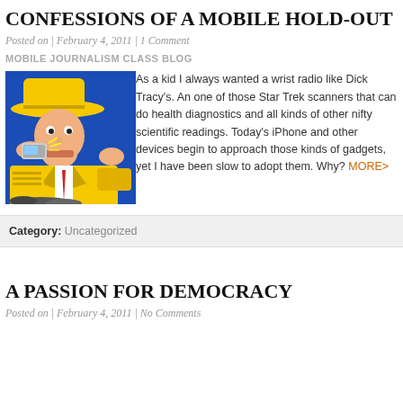CONFESSIONS OF A MOBILE HOLD-OUT
Posted on | February 4, 2011 | 1 Comment
MOBILE JOURNALISM CLASS BLOG
[Figure (illustration): Comic illustration of Dick Tracy speaking into his wrist radio, wearing a yellow hat and coat, blue background]
As a kid I always wanted a wrist radio like Dick Tracy's. And one of those Star Trek scanners that can do health diagnostics and all kinds of other nifty scientific readings. Today's iPhone and other devices begin to approach those kinds of gadgets, yet I have been slow to adopt them. Why? MORE>
Category: Uncategorized
A PASSION FOR DEMOCRACY
Posted on | February 4, 2011 | No Comments